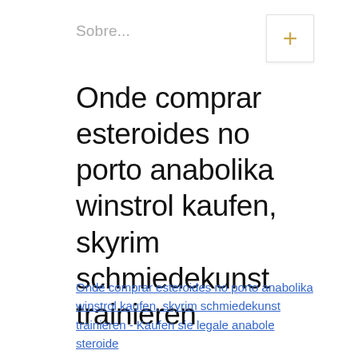Sobre...
Onde comprar esteroides no porto anabolika winstrol kaufen, skyrim schmiedekunst trainieren
Onde comprar esteroides no porto anabolika winstrol kaufen, skyrim schmiedekunst trainieren - Kaufen sie legale anabole steroide
[Figure (photo): Blurred dark photograph, partially visible, with a white circular button overlay containing three dots (ellipsis/more options button)]